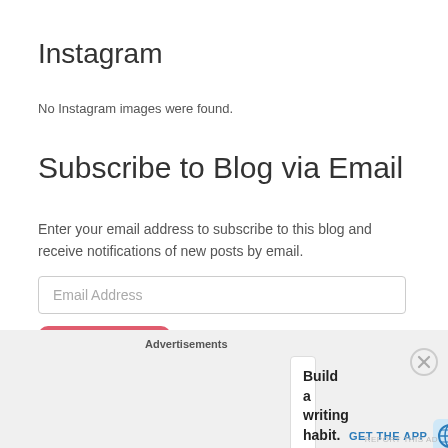Instagram
No Instagram images were found.
Subscribe to Blog via Email
Enter your email address to subscribe to this blog and receive notifications of new posts by email.
Email Address
Subscribe
Join 1,151 other followers
Advertisements
Build a writing habit.
Post on the go.
GET THE APP